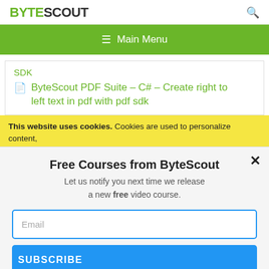BYTESCOUT
≡ Main Menu
SDK
ByteScout PDF Suite – C# – Create right to left text in pdf with pdf sdk
This website uses cookies. Cookies are used to personalize content, analyze traffic, provide social media features, display ads. We also share
Free Courses from ByteScout
Let us notify you next time we release a new free video course.
Email
SUBSCRIBE